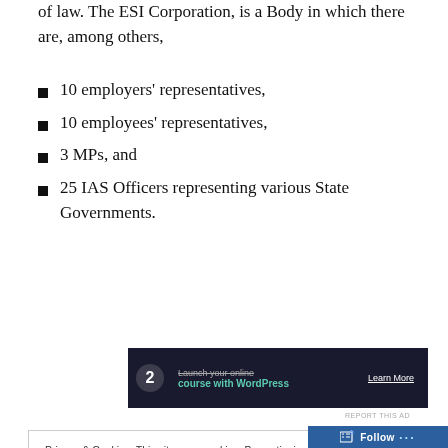of law. The ESI Corporation, is a Body in which there are, among others,
10 employers' representatives,
10 employees' representatives,
3 MPs, and
25 IAS Officers representing various State Governments.
[Figure (infographic): Advertisement banner: Launch your online course with WordPress - Learn More button]
REPORT THIS AD
Privacy & Cookies: This site uses cookies. By continuing to use this website, you agree to their use. To find out more, including how to control cookies, see here: Cookie Policy
Close and accept